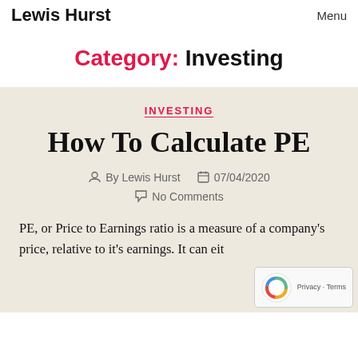Lewis Hurst   Menu
Category: Investing
INVESTING
How To Calculate PE
By Lewis Hurst   07/04/2020   No Comments
PE, or Price to Earnings ratio is a measure of a company's price, relative to it's earnings. It can either be found by looking at the...